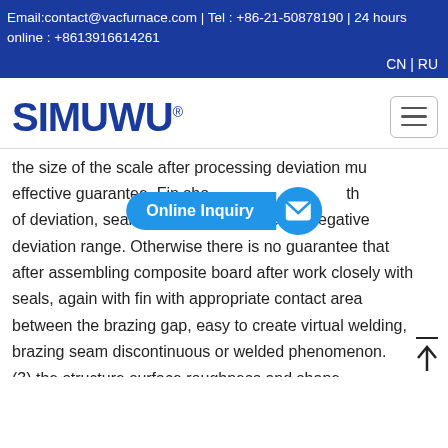Email:contact@vacfurnace.com | Tel : +86-21-50878190 | 24 hours online : +8613916614261
CN | RU
[Figure (logo): SIMUWU registered trademark logo in dark blue bold text]
the size of the scale after processing deviation must effective guarantee. Fin should be controlled within the of deviation, seals should be controlled in negative deviation range. Otherwise there is no guarantee that after assembling composite board after work closely with seals, again with fin with appropriate contact area between the brazing gap, easy to create virtual welding, brazing seam discontinuous or welded phenomenon. (3) the structure surface roughness and shape